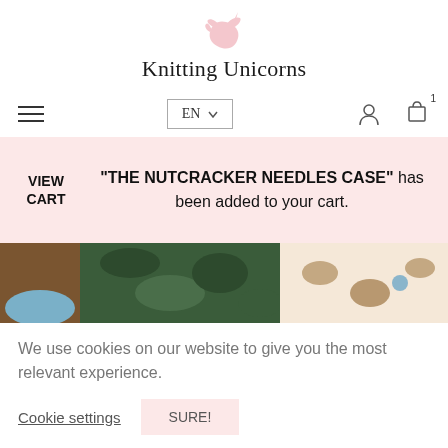[Figure (logo): Pink unicorn silhouette logo above the site title]
Knitting Unicorns
[Figure (screenshot): Navigation bar with hamburger menu on left, EN language selector in center, user icon and cart icon (with badge 1) on right]
“THE NUTCRACKER NEEDLES CASE” has been added to your cart.
[Figure (photo): Partial product image strip showing knitting needles case with botanical and animal print fabric]
We use cookies on our website to give you the most relevant experience.
Cookie settings
SURE!